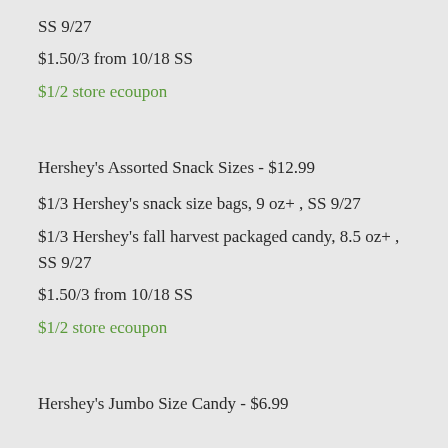SS 9/27
$1.50/3 from 10/18 SS
$1/2 store ecoupon
Hershey's Assorted Snack Sizes - $12.99
$1/3 Hershey's snack size bags, 9 oz+ , SS 9/27
$1/3 Hershey's fall harvest packaged candy, 8.5 oz+ , SS 9/27
$1.50/3 from 10/18 SS
$1/2 store ecoupon
Hershey's Jumbo Size Candy - $6.99